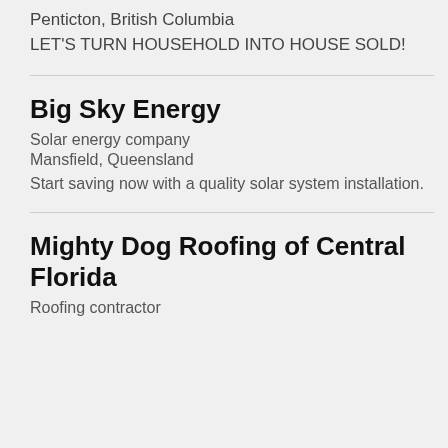Penticton, British Columbia
LET'S TURN HOUSEHOLD INTO HOUSE SOLD!
Big Sky Energy
Solar energy company
Mansfield, Queensland
Start saving now with a quality solar system installation.
Mighty Dog Roofing of Central Florida
Roofing contractor